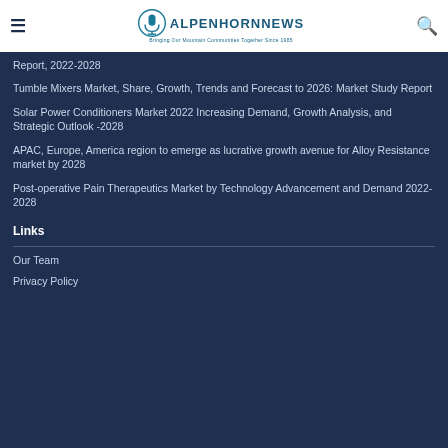AlpenhornNews — Bringing Our Mountain Communities Together Since 1985
Report, 2022-2028
Tumble Mixers Market, Share, Growth, Trends and Forecast to 2026: Market Study Report
Solar Power Conditioners Market 2022 Increasing Demand, Growth Analysis, and Strategic Outlook -2028
APAC, Europe, America region to emerge as lucrative growth avenue for Alloy Resistance market by 2028
Post-operative Pain Therapeutics Market by Technology Advancement and Demand 2022-2028
Links
Our Team
Privacy Policy